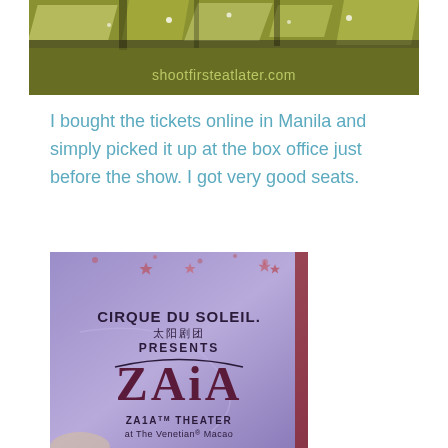[Figure (photo): Top photo showing metallic/architectural detail with watermark 'shootfirsteatlater.com' in bottom right]
I bought the tickets online in Manila and simply picked it up at the box office just before the show. I got very good seats.
[Figure (photo): Photo of a Cirque du Soleil ZAIA show ticket/program. Text reads: CIRQUE DU SOLEIL, 太阳剧团, PRESENTS, ZAIA, ZA1A(TM) THEATER at The Venetian(R) Macao. Purple/lavender background with decorative elements.]